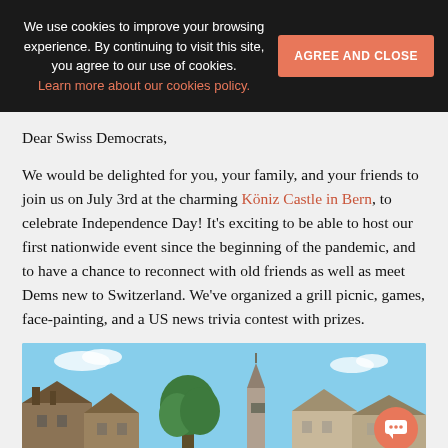We use cookies to improve your browsing experience. By continuing to visit this site, you agree to our use of cookies. Learn more about our cookies policy.
Dear Swiss Democrats,
We would be delighted for you, your family, and your friends to join us on July 3rd at the charming Köniz Castle in Bern, to celebrate Independence Day! It’s exciting to be able to host our first nationwide event since the beginning of the pandemic, and to have a chance to reconnect with old friends as well as meet Dems new to Switzerland. We’ve organized a grill picnic, games, face-painting, and a US news trivia contest with prizes.
[Figure (photo): Outdoor photo of Köniz Castle area in Bern showing old stone buildings with rooftops, a green tree, a church spire in the background, and a blue sky with light clouds.]